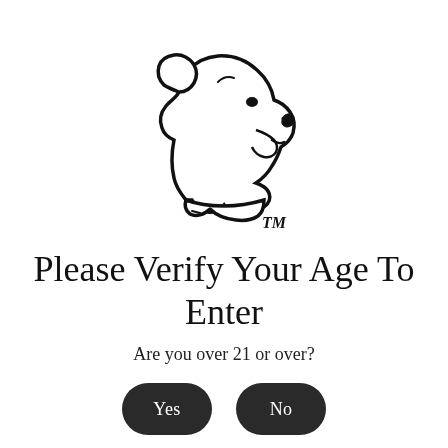[Figure (logo): Black outline illustration of a Labrador dog head in profile facing right, with TM trademark symbol below]
Please Verify Your Age To Enter
Are you over 21 or over?
Yes   No